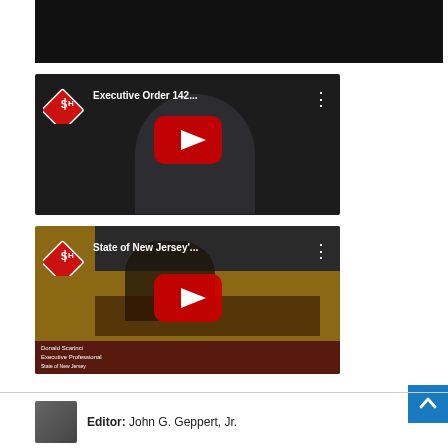[Figure (screenshot): Top portion of a dark/black video player (cropped)]
[Figure (screenshot): YouTube video thumbnail: Executive Order 142... with SH logo, play button, and a man in suit with red tie]
[Figure (screenshot): YouTube video thumbnail: State of New Jersey'... with SH logo, play button, and a man at a podium (Donald Scarinci, Executive Professional)]
[Figure (screenshot): Blue back-to-top arrow button in lower right]
Editor: John G. Geppert, Jr.